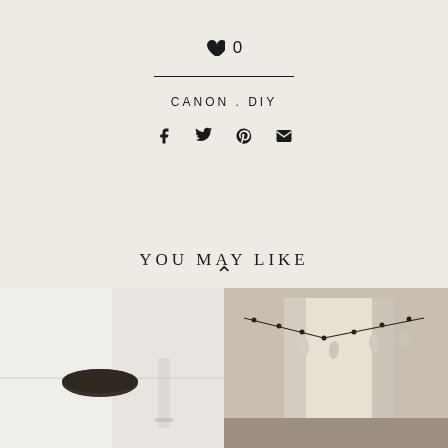♥ 0
CANON . DIY
[Figure (infographic): Social sharing icons: Facebook, Twitter, Pinterest, Email]
YOU MAY LIKE
[Figure (photo): Photo of a dark round object on a white surface with a glass vase]
[Figure (photo): Photo of a room with string lights and white curtains near a window]